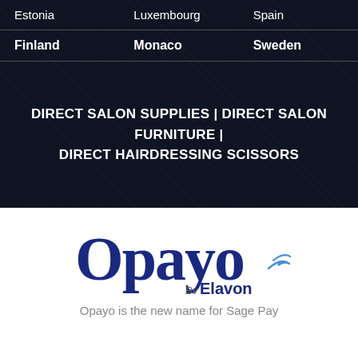| Estonia | Luxembourg | Spain |
| Finland | Monaco | Sweden |
DIRECT SALON SUPPLIES | DIRECT SALON FURNITURE | DIRECT HAIRDRESSING SCISSORS
[Figure (logo): Opayo by Elavon logo — large navy blue 'Opayo' text with 'by Elavon' below and a swoosh arrow graphic]
Opayo is the new name for Sage Pay